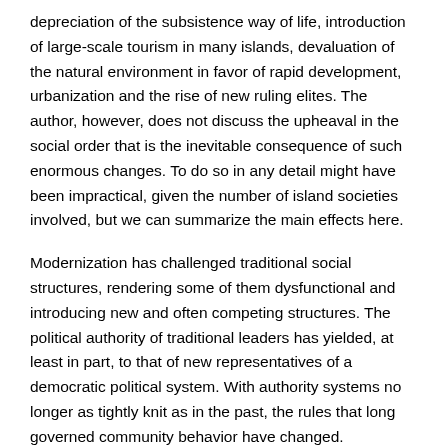depreciation of the subsistence way of life, introduction of large-scale tourism in many islands, devaluation of the natural environment in favor of rapid development, urbanization and the rise of new ruling elites. The author, however, does not discuss the upheaval in the social order that is the inevitable consequence of such enormous changes. To do so in any detail might have been impractical, given the number of island societies involved, but we can summarize the main effects here.
Modernization has challenged traditional social structures, rendering some of them dysfunctional and introducing new and often competing structures. The political authority of traditional leaders has yielded, at least in part, to that of new representatives of a democratic political system. With authority systems no longer as tightly knit as in the past, the rules that long governed community behavior have changed. Superimposed on those traditional codes of behavior are new norms that flow from the nature of a monetized and democratized society. Communities no longer hold together easily, due as much to the population drain to cities and towns as to the diminishing effectiveness of the traditional controls. Meanwhile, urban areas are too large and